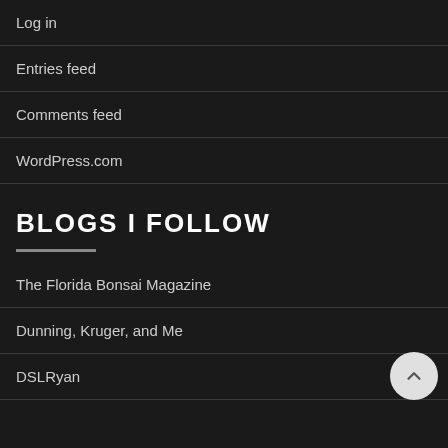Log in
Entries feed
Comments feed
WordPress.com
BLOGS I FOLLOW
The Florida Bonsai Magazine
Dunning, Kruger, and Me
DSLRyan